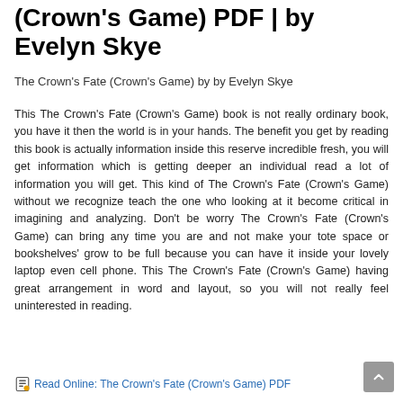(Crown's Game) PDF | by Evelyn Skye
The Crown's Fate (Crown's Game) by by Evelyn Skye
This The Crown's Fate (Crown's Game) book is not really ordinary book, you have it then the world is in your hands. The benefit you get by reading this book is actually information inside this reserve incredible fresh, you will get information which is getting deeper an individual read a lot of information you will get. This kind of The Crown's Fate (Crown's Game) without we recognize teach the one who looking at it become critical in imagining and analyzing. Don't be worry The Crown's Fate (Crown's Game) can bring any time you are and not make your tote space or bookshelves' grow to be full because you can have it inside your lovely laptop even cell phone. This The Crown's Fate (Crown's Game) having great arrangement in word and layout, so you will not really feel uninterested in reading.
Read Online: The Crown's Fate (Crown's Game) PDF